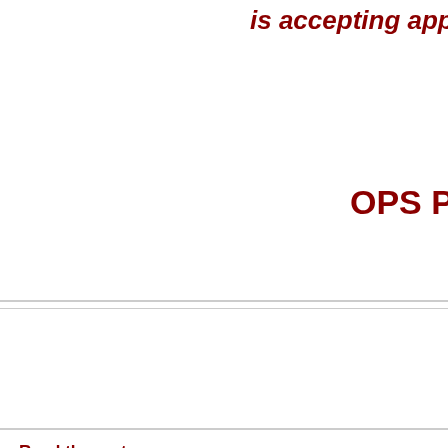is accepting app...
OPS PARA...
... Read the rest
[Figure (logo): Bay County Florida circular seal/logo with orange sun and blue waves]